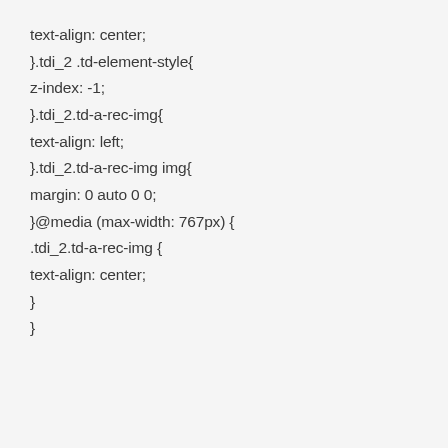text-align: center;
}.tdi_2 .td-element-style{
z-index: -1;
}.tdi_2.td-a-rec-img{
text-align: left;
}.tdi_2.td-a-rec-img img{
margin: 0 auto 0 0;
}@media (max-width: 767px) {
.tdi_2.td-a-rec-img {
text-align: center;
}
}